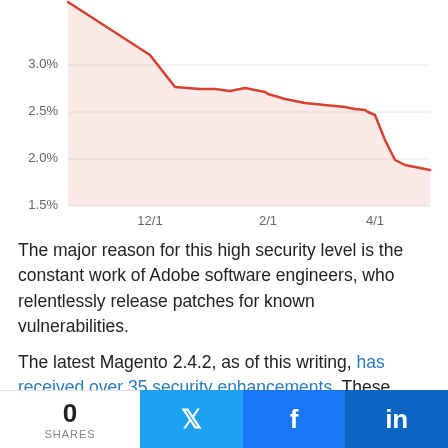[Figure (area-chart): Area chart showing a declining line from ~3.1% around 12/1 down to ~1.87% around 4/1, with a red line and light red fill area.]
The major reason for this high security level is the constant work of Adobe software engineers, who relentlessly release patches for known vulnerabilities.
The latest Magento 2.4.2, as of this writing, has received over 35 security enhancements. These
as close several significant vulnerabilities
0 SHARES